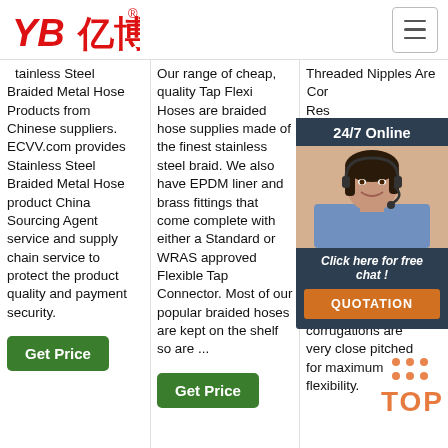[Figure (logo): YB亿博 logo in red with registered trademark symbol]
Stainless Steel Braided Metal Hose Products from Chinese suppliers. ECVV.com provides Stainless Steel Braided Metal Hose product China Sourcing Agent service and supply chain service to protect the product quality and payment security.
Our range of cheap, quality Tap Flexi Hoses are braided hose supplies made of the finest stainless steel braid. We also have EPDM liner and brass fittings that come complete with either a Standard or WRAS approved Flexible Tap Connector. Most of our popular braided hoses are kept on the shelf so are ...
Threaded Nipples Are Corrugated Resistant Plumbing Approved Braided made of corrugated stainless tubing, tight stainless for long lasting durability. The corrugations are very close pitched for maximum flexibility.
[Figure (photo): Customer service representative wearing headset, smiling, with 24/7 Online banner and Click here for free chat text and QUOTATION button]
Get Price
Get Price